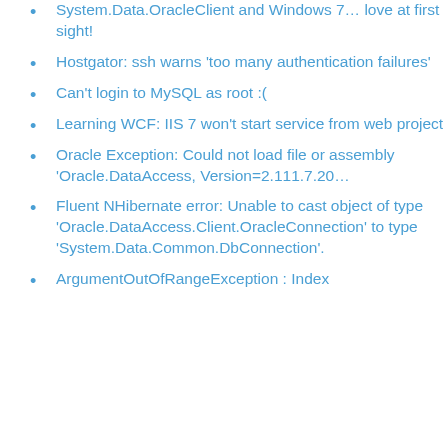System.Data.OracleClient and Windows 7… love at first sight!
Hostgator: ssh warns 'too many authentication failures'
Can't login to MySQL as root :(
Learning WCF: IIS 7 won't start service from web project
Oracle Exception: Could not load file or assembly 'Oracle.DataAccess, Version=2.111.7.20…
Fluent NHibernate error: Unable to cast object of type 'Oracle.DataAccess.Client.OracleConnection' to type 'System.Data.Common.DbConnection'.
ArgumentOutOfRangeException : Index